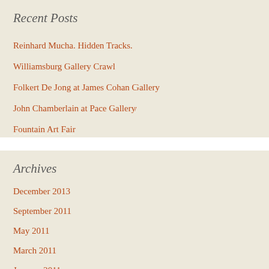Recent Posts
Reinhard Mucha. Hidden Tracks.
Williamsburg Gallery Crawl
Folkert De Jong at James Cohan Gallery
John Chamberlain at Pace Gallery
Fountain Art Fair
Archives
December 2013
September 2011
May 2011
March 2011
January 2011